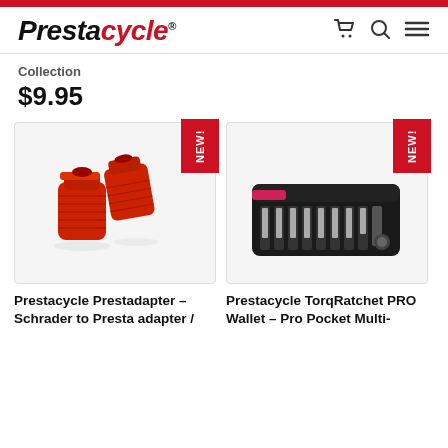Prestacycle
Collection
$9.95
[Figure (photo): Red Prestacycle Prestadapter valve adapters (Schrader to Presta) with NEW badge]
Prestacycle Prestadapter – Schrader to Presta adapter /
[Figure (photo): Prestacycle TorqRatchet PRO Wallet multi-tool in black pouch with NEW badge]
Prestacycle TorqRatchet PRO Wallet – Pro Pocket Multi-